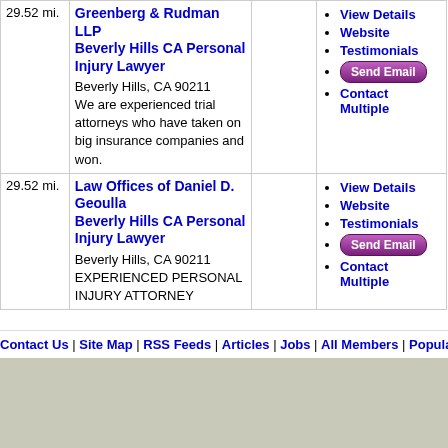| Distance | Firm Info | Map | Links |
| --- | --- | --- | --- |
| 29.52 mi. | Greenberg & Rudman LLP Beverly Hills CA Personal Injury Lawyer
Beverly Hills, CA 90211
We are experienced trial attorneys who have taken on big insurance companies and won. |  | View Details | Website | Testimonials | Send Email | Contact Multiple |
| 29.52 mi. | Law Offices of Daniel D. Geoulla Beverly Hills CA Personal Injury Lawyer
Beverly Hills, CA 90211
EXPERIENCED PERSONAL INJURY ATTORNEY |  | View Details | Website | Testimonials | Send Email | Contact Multiple |
Contact Us | Site Map | RSS Feeds | Articles | Jobs | All Members | Popular Sea